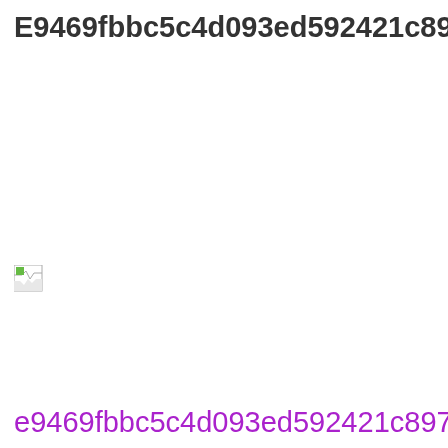E9469fbbc5c4d093ed592421c89769f29b15bd
[Figure (other): Broken image placeholder icon (small image with green and white/light colors, shown as a broken/missing image thumbnail)]
e9469fbbc5c4d093ed592421c89769f29b15bd